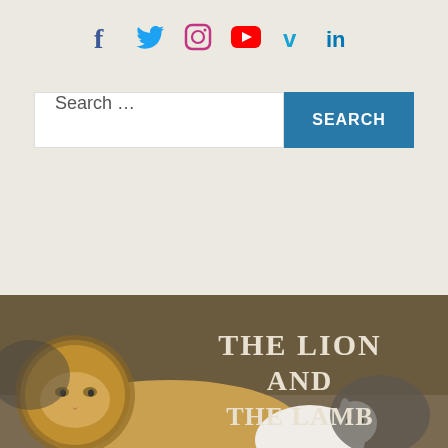Social media icons: f (Facebook), Twitter bird, Instagram, YouTube, Vimeo v, LinkedIn in
[Figure (screenshot): Search bar with 'Search ...' placeholder text and a blue SEARCH button]
[Figure (photo): A lion lying down next to a small white lamb on rocky ground. Text overlay reads 'THE LION AND THE LAMB' with angled chevron arrows on the right side.]
About Us
We are absolutely thrilled and delighted to have you. Basileia is the Greek word for Kingdom in the New